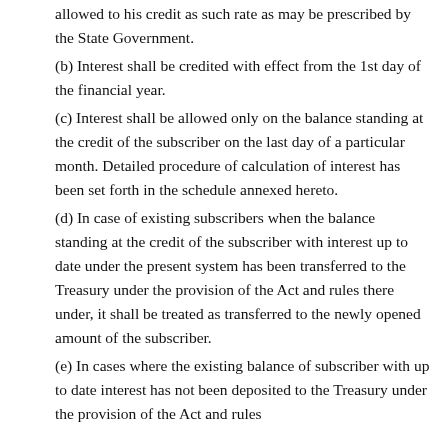allowed to his credit as such rate as may be prescribed by the State Government.
(b) Interest shall be credited with effect from the 1st day of the financial year.
(c) Interest shall be allowed only on the balance standing at the credit of the subscriber on the last day of a particular month. Detailed procedure of calculation of interest has been set forth in the schedule annexed hereto.
(d) In case of existing subscribers when the balance standing at the credit of the subscriber with interest up to date under the present system has been transferred to the Treasury under the provision of the Act and rules there under, it shall be treated as transferred to the newly opened amount of the subscriber.
(e) In cases where the existing balance of subscriber with up to date interest has not been deposited to the Treasury under the provision of the Act and rules